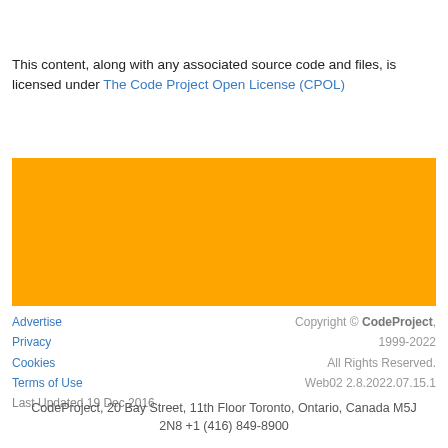This content, along with any associated source code and files, is licensed under The Code Project Open License (CPOL)
[Figure (other): Orange/amber colored rectangular banner advertisement area]
Advertise
Privacy
Cookies
Terms of Use
Last Updated 19 Dec 2016
Copyright © CodeProject, 1999-2022 All Rights Reserved.
Web02 2.8.2022.07.15.1
CodeProject, 20 Bay Street, 11th Floor Toronto, Ontario, Canada M5J 2N8 +1 (416) 849-8900